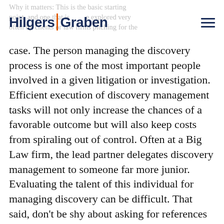Hilgers Graben
Why it matters: This is the basic starting point, and one that is explored very often by clients or law firms pitching for the case. The person managing the discovery process is one of the most important people involved in a given litigation or investigation. Efficient execution of discovery management tasks will not only increase the chances of a favorable outcome but will also keep costs from spiraling out of control. Often at a Big Law firm, the lead partner delegates discovery management to someone far more junior. Evaluating the talent of this individual for managing discovery can be difficult. That said, don't be shy about asking for references for this individual (or team)—